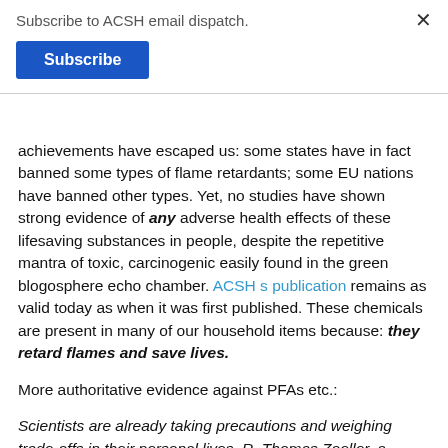Subscribe to ACSH email dispatch.
Subscribe
achievements have escaped us: some states have in fact banned some types of flame retardants; some EU nations have banned other types. Yet, no studies have shown strong evidence of any adverse health effects of these lifesaving substances in people, despite the repetitive mantra of toxic, carcinogenic easily found in the green blogosphere echo chamber. ACSH s publication remains as valid today as when it was first published. These chemicals are present in many of our household items because: they retard flames and save lives.
More authoritative evidence against PFAs etc.:
Scientists are already taking precautions and weighing trade-offs in their personal lives. R. Thomas Zoeller, a